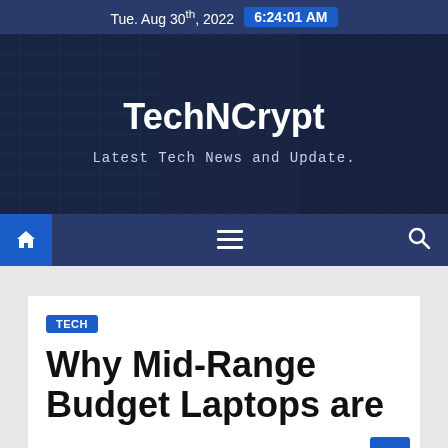Tue. Aug 30th, 2022  6:24:01 AM
[Figure (photo): TechNCrypt website hero banner with city buildings background, showing site title 'TechNCrypt' and tagline 'Latest Tech News and Update.']
TechNCrypt
Latest Tech News and Update.
TECH
Why Mid-Range Budget Laptops are